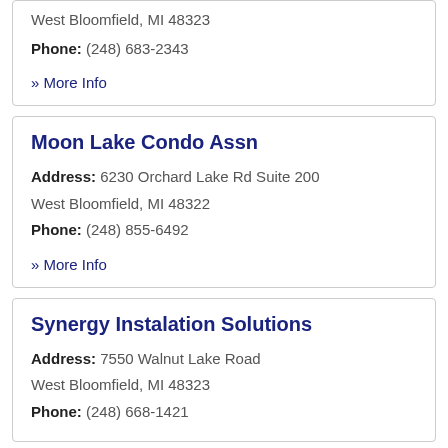West Bloomfield, MI 48323
Phone: (248) 683-2343
» More Info
Moon Lake Condo Assn
Address: 6230 Orchard Lake Rd Suite 200 West Bloomfield, MI 48322
Phone: (248) 855-6492
» More Info
Synergy Instalation Solutions
Address: 7550 Walnut Lake Road West Bloomfield, MI 48323
Phone: (248) 668-1421